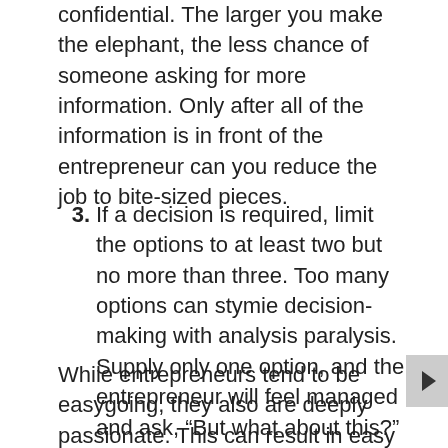confidential. The larger you make the elephant, the less chance of someone asking for more information. Only after all of the information is in front of the entrepreneur can you reduce the job to bite-sized pieces.
3. If a decision is required, limit the options to at least two but no more than three. Too many options can stymie decision-making with analysis paralysis. Supply only one option, and the entrepreneur will feel managed and ask, “But what about this?”
While entrepreneurs tend to be easygoing, they also are deeply passionate. This can result in easy conversations taking heated twists. If you